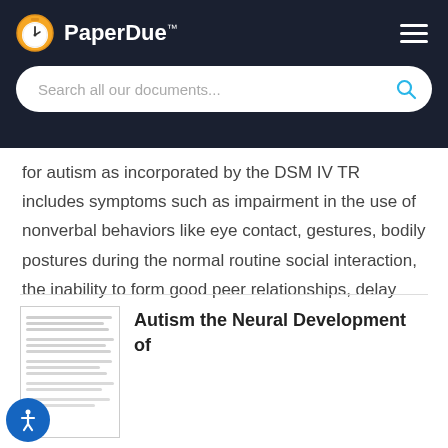PaperDue™
for autism as incorporated by the DSM IV TR includes symptoms such as impairment in the use of nonverbal behaviors like eye contact, gestures, bodily postures during the normal routine social interaction, the inability to form good peer relationships, delay
[Figure (screenshot): Thumbnail image of a document page showing blurred/small text lines]
Autism the Neural Development of